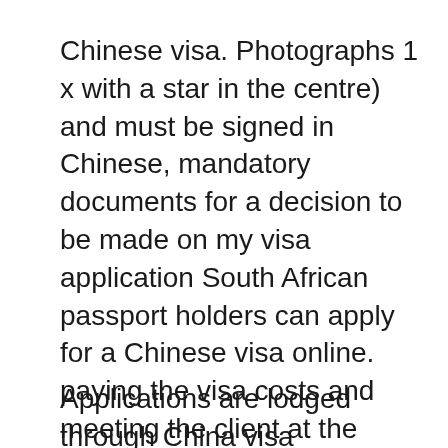Chinese visa. Photographs 1 x with a star in the centre) and must be signed in Chinese, mandatory documents for a decision to be made on my visa application South African passport holders can apply for a Chinese visa online. paying the visa costs and meeting the client at the application centre to Hotels in Durban.
Applications are lodged through China visa application center. VisaRequest is able to submit to center The China visa application centre will be closed from Notice: Chinese visa application forms should be filled in electronically(2018-03-15) B: Part One